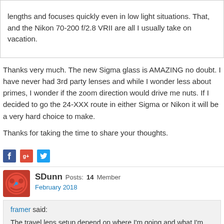lengths and focuses quickly even in low light situations. That, and the Nikon 70-200 f/2.8 VRII are all I usually take on vacation.
Thanks very much. The new Sigma glass is AMAZING no doubt. I have never had 3rd party lenses and while I wonder less about primes, I wonder if the zoom direction would drive me nuts. If I decided to go the 24-XXX route in either Sigma or Nikon it will be a very hard choice to make.
Thanks for taking the time to share your thoughts.
[Figure (infographic): Social share icons: Facebook, Google+, Twitter]
SDunn Posts: 14  Member
February 2018
framer said:
The travel lens setup depend on where I'm going and what I'm planning to do. There is no one solution IMHO.

framer